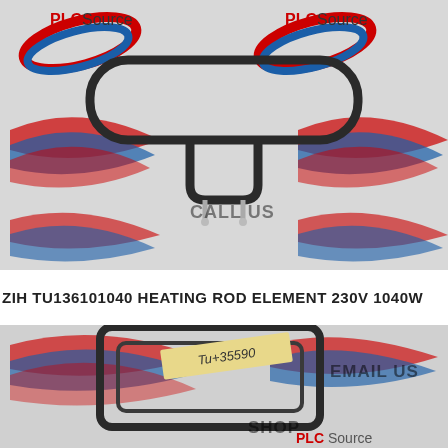[Figure (photo): Photo of a ZIH TU136101040 heating rod element against PLC Source branded background. Shows a dark metal heating rod bent in a U-shape/oblong loop on top, with two connection terminals at the bottom. Multiple PLC Source logos visible with red, white and blue swoosh design. Watermark text 'CALL US' visible.]
ZIH TU136101040 HEATING ROD ELEMENT 230V 1040W
[Figure (photo): Second photo of the same or similar heating rod element against PLC Source branded background. Shows the element in a rectangular coiled shape with a label tape reading 'Tu+35590'. Text overlays: 'EMAIL US' and 'SHOP'. Partial PLC Source logo visible at bottom.]